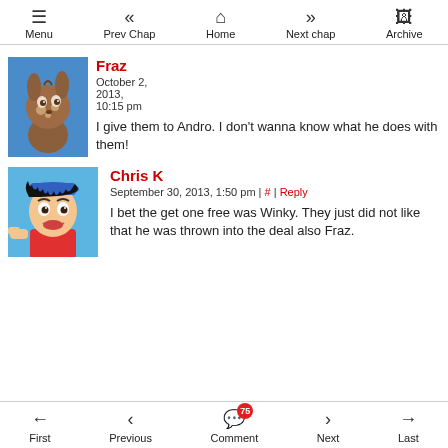Menu | Prev Chap | Home | Next chap | Archive
Fraz
October 2, 2013, 10:15 pm
I give them to Andro. I don't wanna know what he does with them!
Chris K
September 30, 2013, 1:50 pm | # | Reply
I bet the get one free was Winky. They just did not like that he was thrown into the deal also Fraz.
First | Previous | Comment (75) | Next | Last